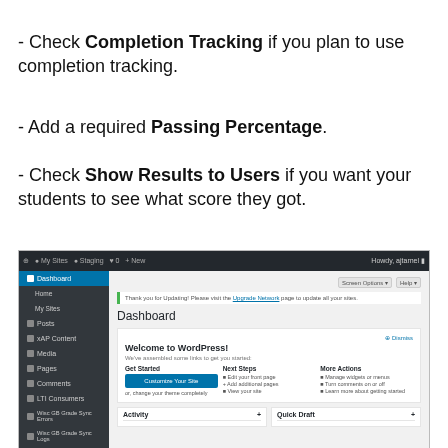- Check Completion Tracking if you plan to use completion tracking.
- Add a required Passing Percentage.
- Check Show Results to Users if you want your students to see what score they got.
[Figure (screenshot): Screenshot of a WordPress Dashboard admin panel showing the sidebar navigation with Dashboard, Home, My Sites, Posts, xAP Content, Media, Pages, Comments, LTI Consumers, Wisc GB Grade Sync Errors, Wisc GB Grade Sync Logs, Appearance, and Themes. The main area shows a Dashboard welcome panel with 'Welcome to WordPress!' message and columns for Get Started, Next Steps, and More Actions.]